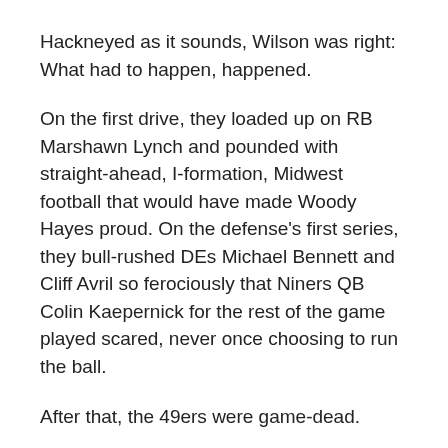Hackneyed as it sounds, Wilson was right: What had to happen, happened.
On the first drive, they loaded up on RB Marshawn Lynch and pounded with straight-ahead, I-formation, Midwest football that would have made Woody Hayes proud. On the defense's first series, they bull-rushed DEs Michael Bennett and Cliff Avril so ferociously that Niners QB Colin Kaepernick for the rest of the game played scared, never once choosing to run the ball.
After that, the 49ers were game-dead.
The Seahawks imposed their will. Like old times.
“It was nice to see us run the ball with authority,” said a satisfied coach, Pete Carroll. “It was a normal Seahawks